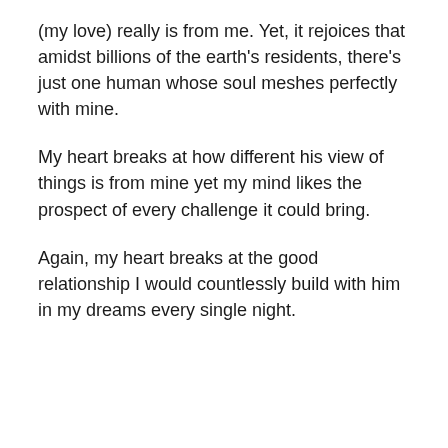(my love) really is from me. Yet, it rejoices that amidst billions of the earth's residents, there's just one human whose soul meshes perfectly with mine.
My heart breaks at how different his view of things is from mine yet my mind likes the prospect of every challenge it could bring.
Again, my heart breaks at the good relationship I would countlessly build with him in my dreams every single night.